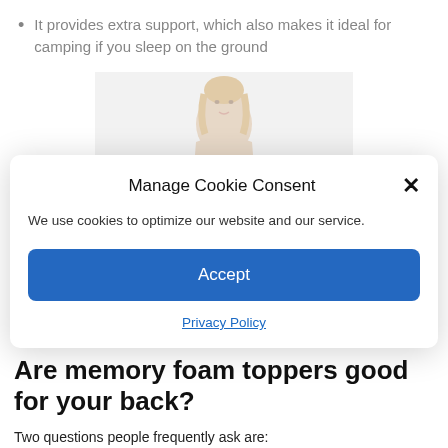It provides extra support, which also makes it ideal for camping if you sleep on the ground
[Figure (photo): Photo of a woman with blonde hair against a light gray background]
Manage Cookie Consent
We use cookies to optimize our website and our service.
Accept
Privacy Policy
Are memory foam toppers good for your back?
Two questions people frequently ask are: